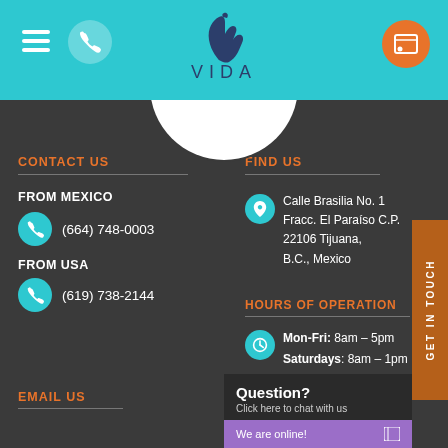VIDA - Contact page header with logo
CONTACT US
FROM MEXICO
(664) 748-0003
FROM USA
(619) 738-2144
FIND US
Calle Brasilia No. 1 Fracc. El Paraíso C.P. 22106 Tijuana, B.C., Mexico
HOURS OF OPERATION
Mon-Fri: 8am – 5pm
Saturdays: 8am – 1pm
EMAIL US